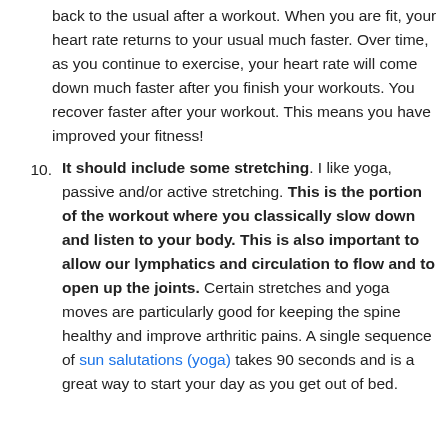back to the usual after a workout. When you are fit, your heart rate returns to your usual much faster. Over time, as you continue to exercise, your heart rate will come down much faster after you finish your workouts. You recover faster after your workout. This means you have improved your fitness!
10. It should include some stretching. I like yoga, passive and/or active stretching. This is the portion of the workout where you classically slow down and listen to your body. This is also important to allow our lymphatics and circulation to flow and to open up the joints. Certain stretches and yoga moves are particularly good for keeping the spine healthy and improve arthritic pains. A single sequence of sun salutations (yoga) takes 90 seconds and is a great way to start your day as you get out of bed.